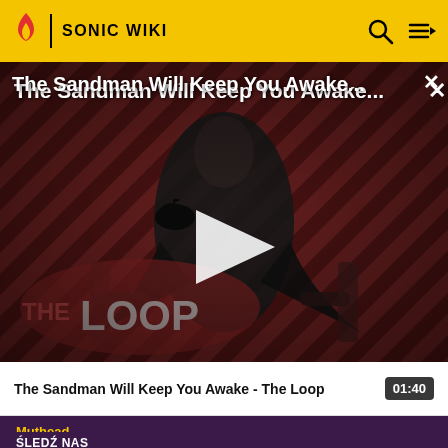SONIC WIKI
[Figure (screenshot): Video thumbnail for 'The Sandman Will Keep You Awake - The Loop' showing a dark figure in a black cape holding a raven, with diagonal red and dark stripe background and 'THE LOOP' logo overlay. A play button triangle is centered on the image.]
The Sandman Will Keep You Awake...
The Sandman Will Keep You Awake - The Loop
01:40
Muthead
ŚLEDŹ NAS